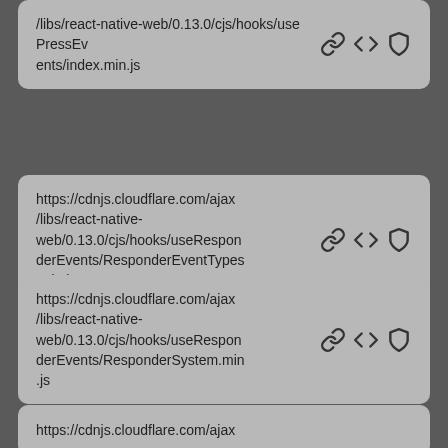/libs/react-native-web/0.13.0/cjs/hooks/usePressEvents/index.min.js
https://cdnjs.cloudflare.com/ajax/libs/react-native-web/0.13.0/cjs/hooks/useResponderEvents/ResponderEventTypes.min.js
https://cdnjs.cloudflare.com/ajax/libs/react-native-web/0.13.0/cjs/hooks/useResponderEvents/ResponderSystem.min.js
https://cdnjs.cloudflare.com/ajax